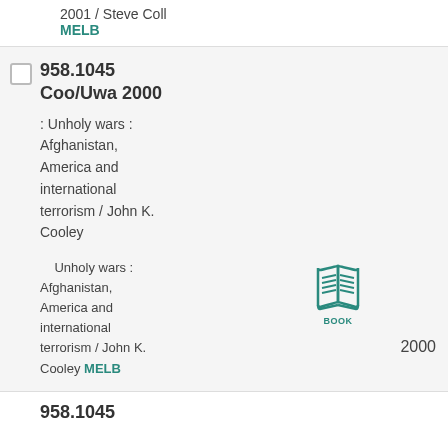2001 / Steve Coll
MELB
958.1045
Coo/Uwa 2000
: Unholy wars : Afghanistan, America and international terrorism / John K. Cooley
Unholy wars : Afghanistan, America and international terrorism / John K. Cooley MELB
[Figure (illustration): Book icon in teal color with label BOOK below it]
2000
958.1045